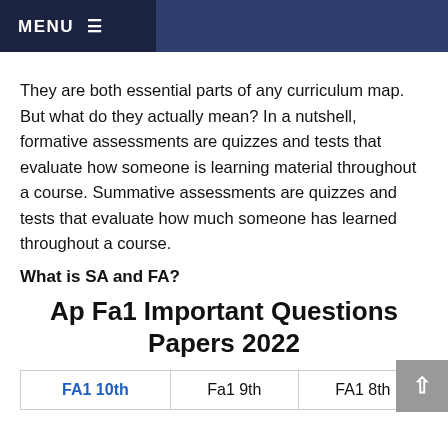MENU ≡
They are both essential parts of any curriculum map. But what do they actually mean? In a nutshell, formative assessments are quizzes and tests that evaluate how someone is learning material throughout a course. Summative assessments are quizzes and tests that evaluate how much someone has learned throughout a course.
What is SA and FA?
Ap Fa1 Important Questions Papers 2022
| FA1 10th | Fa1 9th | FA1 8th |
| --- | --- | --- |